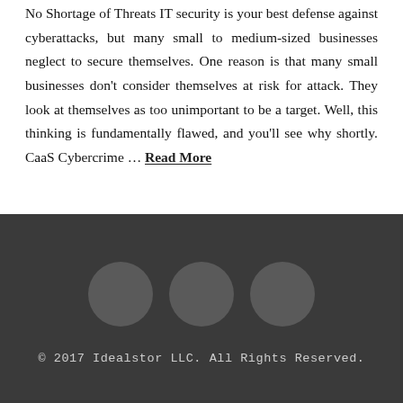No Shortage of Threats IT security is your best defense against cyberattacks, but many small to medium-sized businesses neglect to secure themselves. One reason is that many small businesses don't consider themselves at risk for attack. They look at themselves as too unimportant to be a target. Well, this thinking is fundamentally flawed, and you'll see why shortly. CaaS Cybercrime … Read More
[Figure (other): Three dark gray circular social media icon buttons arranged horizontally in the footer]
© 2017 Idealstor LLC. All Rights Reserved.